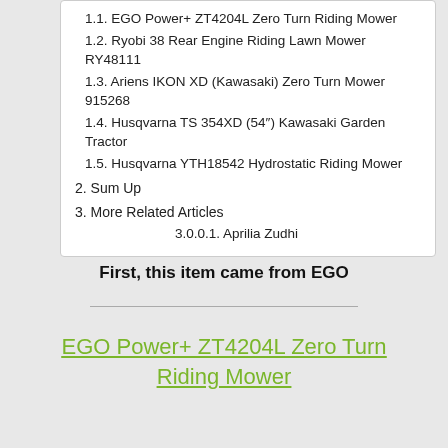1.1. EGO Power+ ZT4204L Zero Turn Riding Mower
1.2. Ryobi 38 Rear Engine Riding Lawn Mower RY48111
1.3. Ariens IKON XD (Kawasaki) Zero Turn Mower 915268
1.4. Husqvarna TS 354XD (54″) Kawasaki Garden Tractor
1.5. Husqvarna YTH18542 Hydrostatic Riding Mower
2. Sum Up
3. More Related Articles
3.0.0.1. Aprilia Zudhi
First, this item came from EGO
EGO Power+ ZT4204L Zero Turn Riding Mower